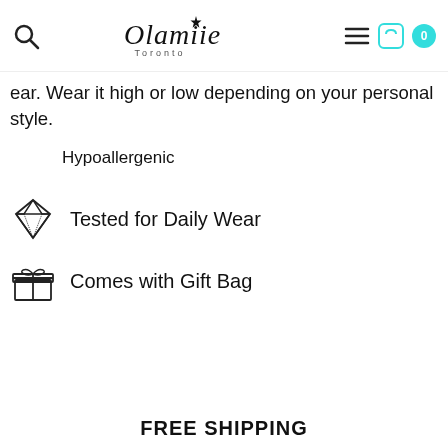Olamiie Toronto — navigation header with search, logo, menu, cart
ear. Wear it high or low depending on your personal style.
Hypoallergenic
Tested for Daily Wear
Comes with Gift Bag
FREE SHIPPING